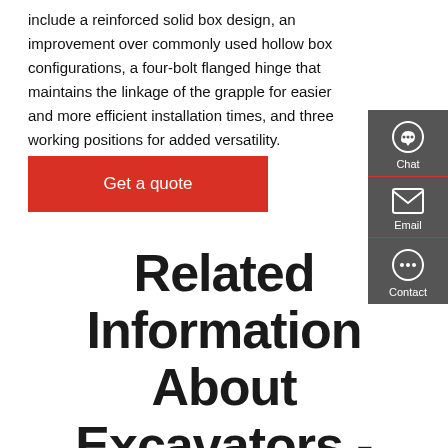include a reinforced solid box design, an improvement over commonly used hollow box configurations, a four-bolt flanged hinge that maintains the linkage of the grapple for easier and more efficient installation times, and three working positions for added versatility.
Get a quote
Related Information About Excavators -